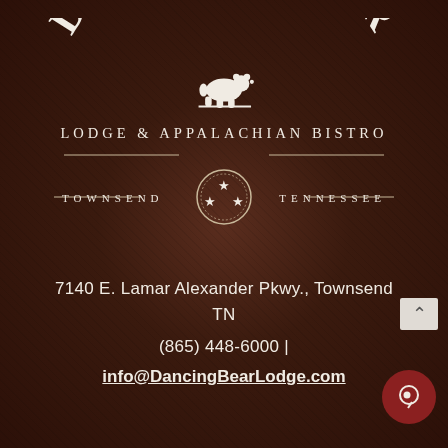[Figure (logo): Dancing Bear Lodge & Appalachian Bistro logo: arched 'Dancing Bear' text in white serif with a bear illustration in center, 'Lodge & Appalachian Bistro' below, and 'Townsend * Tennessee' with Tennessee tri-star emblem]
7140 E. Lamar Alexander Pkwy., Townsend TN
(865) 448-6000 |
info@DancingBearLodge.com